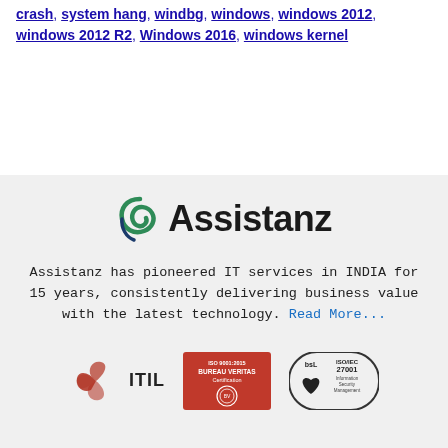crash, system hang, windbg, windows, windows 2012, windows 2012 R2, Windows 2016, windows kernel
[Figure (logo): Assistanz company logo with green/blue swirl icon and bold Assistanz wordmark]
Assistanz has pioneered IT services in INDIA for 15 years, consistently delivering business value with the latest technology. Read More...
[Figure (logo): Three certification badges: ITIL logo, Bureau Veritas Certification badge, BSI ISO/IEC 27001 Information Security Management badge]